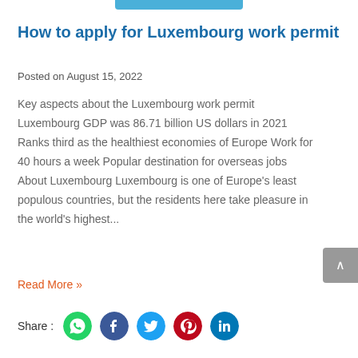How to apply for Luxembourg work permit
Posted on August 15, 2022
Key aspects about the Luxembourg work permit Luxembourg GDP was 86.71 billion US dollars in 2021 Ranks third as the healthiest economies of Europe Work for 40 hours a week Popular destination for overseas jobs About Luxembourg Luxembourg is one of Europe's least populous countries, but the residents here take pleasure in the world's highest...
Read More »